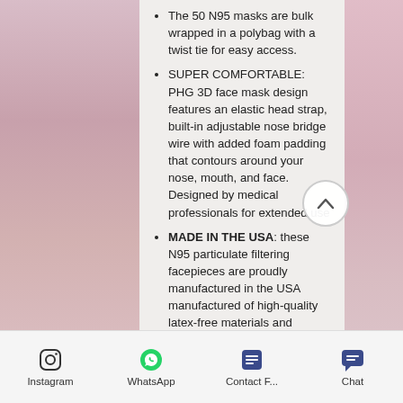The 50 N95 masks are bulk wrapped in a polybag with a twist tie for easy access.
SUPER COMFORTABLE: PHG 3D face mask design features an elastic head strap, built-in adjustable nose bridge wire with added foam padding that contours around your nose, mouth, and face. Designed by medical professionals for extended use
MADE IN THE USA: these N95 particulate filtering facepieces are proudly manufactured in the USA manufactured of high-quality latex-free materials and provide at least 95% filtration efficiency and reliable breathing protection.
CDC Approved N95 Respirator Manufacturers List
This… (truncated)
Instagram | WhatsApp | Contact F... | Chat